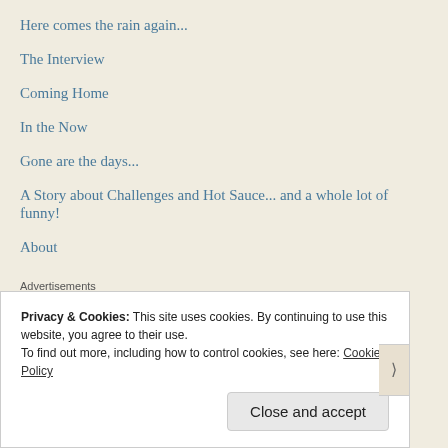Here comes the rain again...
The Interview
Coming Home
In the Now
Gone are the days...
A Story about Challenges and Hot Sauce... and a whole lot of funny!
About
Advertisements
[Figure (logo): Longreads red banner logo with circle L icon and LONGREADS text]
Privacy & Cookies: This site uses cookies. By continuing to use this website, you agree to their use.
To find out more, including how to control cookies, see here: Cookie Policy
Close and accept